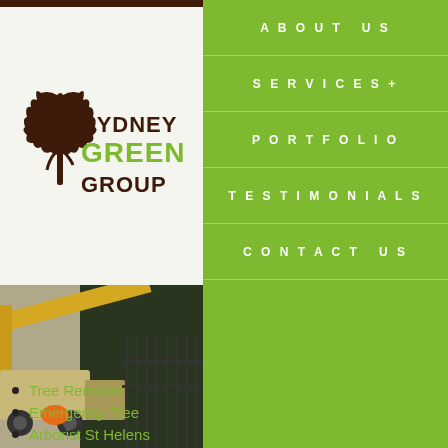[Figure (logo): Sydney Green Group logo with tree silhouette and person in brown and green colors]
[Figure (photo): Photo of tree service equipment/crane near trees]
ABOUT US
SERVICES+
PORTFOLIO
TESTIMONIALS
CONTACT US
Other Tree Services
Tree Removal
Emergency Tree
Arborist St Helens
Stump Grinding S
Land Clearing